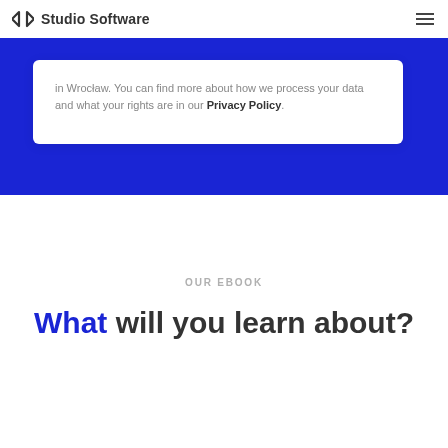Studio Software
in Wrocław. You can find more about how we process your data and what your rights are in our Privacy Policy.
OUR EBOOK
What will you learn about?